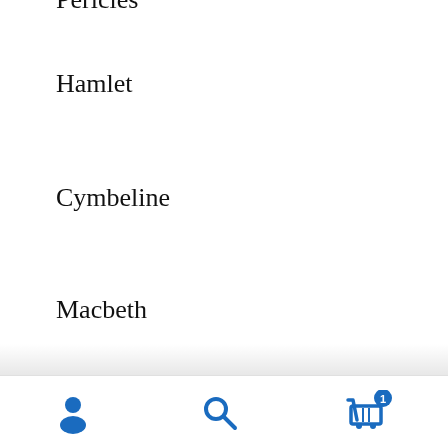Pericles
Hamlet
Cymbeline
Macbeth
The Comedy of Errors
The Merchant of Venice
Timon of Athens
Othello
The Taming of the Shrew